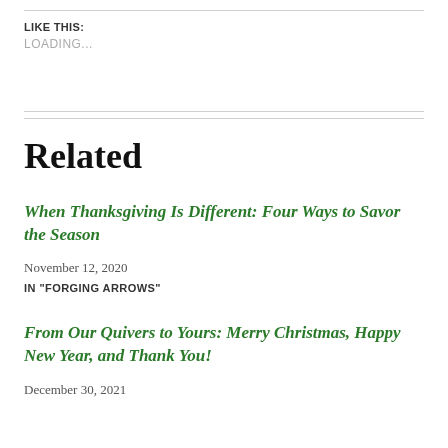LIKE THIS:
LOADING...
Related
When Thanksgiving Is Different: Four Ways to Savor the Season
November 12, 2020
IN "FORGING ARROWS"
From Our Quivers to Yours: Merry Christmas, Happy New Year, and Thank You!
December 30, 2021